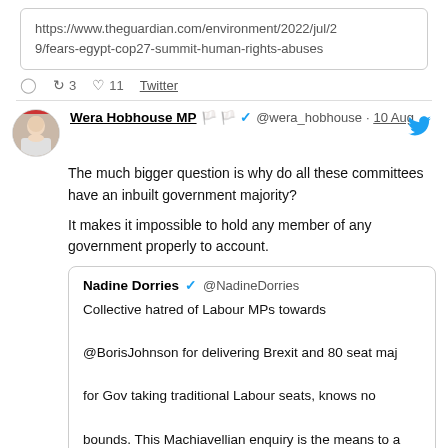https://www.theguardian.com/environment/2022/jul/29/fears-egypt-cop27-summit-human-rights-abuses
Reply  Retweet 3  Like 11  Twitter
Wera Hobhouse MP 🏳️‍🌈  @wera_hobhouse · 10 Aug
The much bigger question is why do all these committees have an inbuilt government majority?

It makes it impossible to hold any member of any government properly to account.
Nadine Dorries  @NadineDorries
Collective hatred of Labour MPs towards @BorisJohnson for delivering Brexit and 80 seat maj for Gov taking traditional Labour seats, knows no bounds. This Machiavellian enquiry is the means to a by-election and Con MPs should have no part in it.